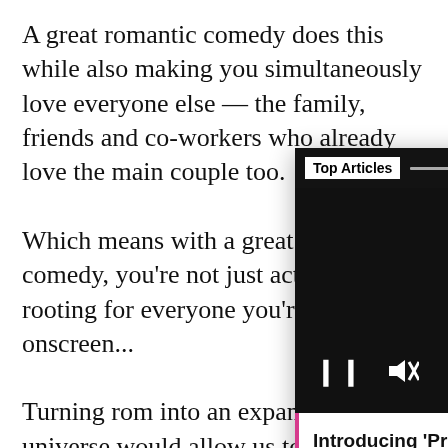A great romantic comedy does this while also making you simultaneously love everyone else — the family, friends and co-workers who already love the main couple too.

Which means with a great romantic comedy, you're not just actively rooting for everyone you're watching onscreen...

Turning rom into an expanded universe would allow us to deeper explore the individuals we've come to care about. We'd get to see their lives play out outside the epic first kisses and beyond the first big misunderstanding, and would be able live — for just a little bit longer — in this somewhat magical, whimsical world with individuals as...
[Figure (screenshot): An overlay card showing a podcast player widget. Top section has 'Top Articles' label on dark background with progress bars and three-dot menu. Center shows a podcast logo (microphone illustration in teal and orange on black). Controls show pause button, mute button, and a pink arrow-right button. Bottom caption section reads: Introducing 'Prophecy Radio,' abrand new 'Percy Jackson' podcast]